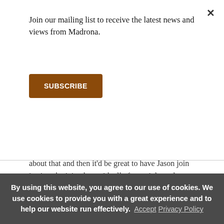Join our mailing list to receive the latest news and views from Madrona.
SUBSCRIBE
about that and then it'd be great to have Jason join in since he joined up with all of you right at the beginning.
Luis
Absolutely, as soon as is a great way of looping in Jason into the right moment, too. So yeah, so as TVM started getting more and more traction, we did the conference at the end of 2018. And we have well over 200 people come
By using this website, you agree to our use of cookies. We use cookies to provide you with a great experience and to help our website run effectively.  Accept  Privacy Policy